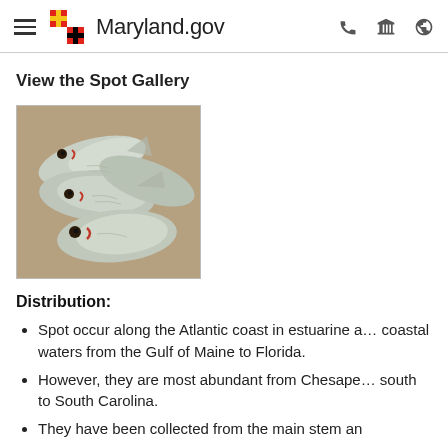Maryland.gov
View the Spot Gallery
[Figure (photo): Several spot fish (Leiostomus xanthurus) piled together on a surface, showing silvery scales and characteristic markings]
Distribution:
Spot occur along the Atlantic coast in estuarine and coastal waters from the Gulf of Maine to Florida.
However, they are most abundant from Chesapeake south to South Carolina.
They have been collected from the main stem and